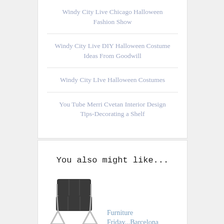Windy City Live Chicago Halloween Fashion Show
Windy City Live DIY Halloween Costume Ideas From Goodwill
Windy City LIve Halloween Costumes
You Tube Merri Cvetan Interior Design Tips-Decorating a Shelf
You also might like...
[Figure (photo): A modern Barcelona-style chair in dark grey/black leather with chrome frame, photographed on white background]
Furniture Friday...Barcelona